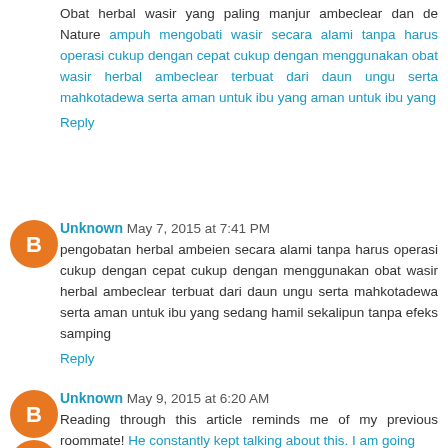Obat herbal wasir yang paling manjur ambeclear dan de Nature ampuh mengobati wasir secara alami tanpa harus operasi cukup dengan cepat cukup dengan menggunakan obat wasir herbal ambeclear terbuat dari daun ungu serta mahkotadewa serta aman untuk ibu yang aman untuk ibu yang
Reply
Unknown May 7, 2015 at 7:41 PM
pengobatan herbal ambeien secara alami tanpa harus operasi cukup dengan cepat cukup dengan menggunakan obat wasir herbal ambeclear terbuat dari daun ungu serta mahkotadewa serta aman untuk ibu yang sedang hamil sekalipun tanpa efeks samping
Reply
Unknown May 9, 2015 at 6:20 AM
Reading through this article reminds me of my previous roommate! He constantly kept talking about this. I am going